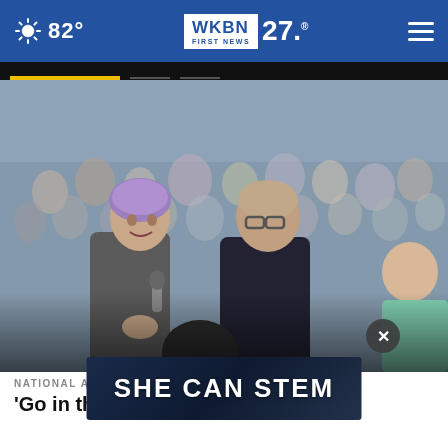82° WKBN FIRST NEWS 27
[Figure (photo): Crowd of people at a gathering or prayer event; two people in the foreground appear to be holding hands or praying, with a large blurred crowd behind them]
[Figure (infographic): Advertisement overlay banner reading SHE CAN STEM with dark blue starry background, with an X close button]
NATIONAL AND WORLD
'Go in there': Police hit with